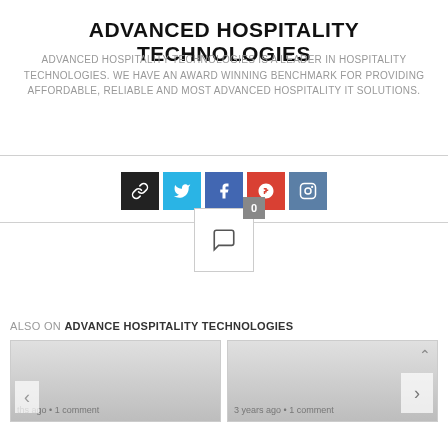ADVANCED HOSPITALITY TECHNOLOGIES
ADVANCED HOSPITALITY TECHNOLOGIES IS A LEADER IN HOSPITALITY TECHNOLOGIES. WE HAVE AN AWARD WINNING BENCHMARK FOR PROVIDING AFFORDABLE, RELIABLE AND MOST ADVANCED HOSPITALITY IT SOLUTIONS.
[Figure (infographic): Social media icon buttons: link/chain icon (dark), Twitter bird (blue), Facebook f (dark blue), Google+ (red), Instagram camera (steel blue)]
[Figure (infographic): Comment widget box with badge showing 0 and a speech bubble icon inside]
ALSO ON ADVANCE HOSPITALITY TECHNOLOGIES
[Figure (screenshot): Two content cards side by side, each showing a gray gradient placeholder image. Left card partially shows text 'ths ago • 1 comment'. Right card shows '3 years ago • 1 comment'. Navigation arrows on the sides.]